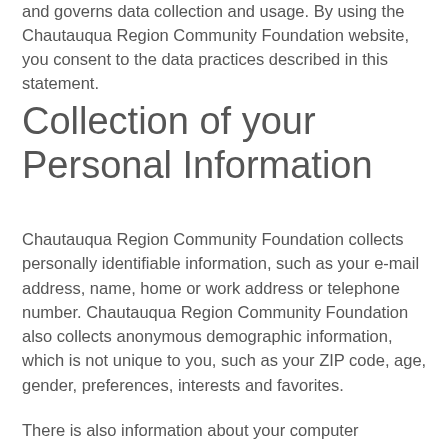and governs data collection and usage. By using the Chautauqua Region Community Foundation website, you consent to the data practices described in this statement.
Collection of your Personal Information
Chautauqua Region Community Foundation collects personally identifiable information, such as your e-mail address, name, home or work address or telephone number. Chautauqua Region Community Foundation also collects anonymous demographic information, which is not unique to you, such as your ZIP code, age, gender, preferences, interests and favorites.
There is also information about your computer hardware and software that is automatically collected